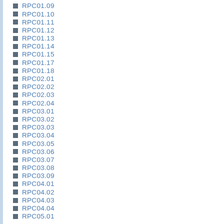RPC01.09
RPC01.10
RPC01.11
RPC01.12
RPC01.13
RPC01.14
RPC01.15
RPC01.17
RPC01.18
RPC02.01
RPC02.02
RPC02.03
RPC02.04
RPC03.01
RPC03.02
RPC03.03
RPC03.04
RPC03.05
RPC03.06
RPC03.07
RPC03.08
RPC03.09
RPC04.01
RPC04.02
RPC04.03
RPC04.04
RPC05.01